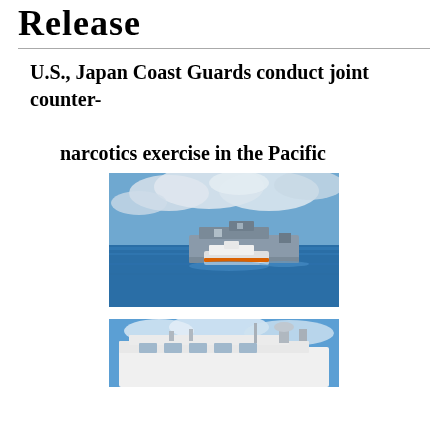Release
U.S., Japan Coast Guards conduct joint counter-narcotics exercise in the Pacific
[Figure (photo): Aerial view of two coast guard vessels at sea in the Pacific Ocean, under partly cloudy sky. A large grey ship and a smaller orange and white vessel visible on blue water.]
[Figure (photo): Close-up view of the bridge/superstructure of a white coast guard vessel with equipment and radar visible, blue sky with clouds in background.]